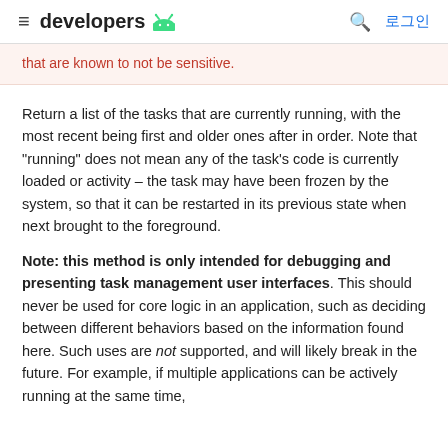≡ developers 🤖  🔍 로그인
that are known to not be sensitive.
Return a list of the tasks that are currently running, with the most recent being first and older ones after in order. Note that "running" does not mean any of the task's code is currently loaded or activity – the task may have been frozen by the system, so that it can be restarted in its previous state when next brought to the foreground.
Note: this method is only intended for debugging and presenting task management user interfaces. This should never be used for core logic in an application, such as deciding between different behaviors based on the information found here. Such uses are not supported, and will likely break in the future. For example, if multiple applications can be actively running at the same time,